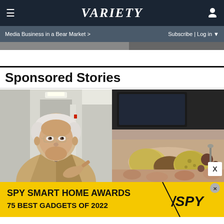VARIETY | Media Business in a Bear Market > | Subscribe | Log in
Sponsored Stories
[Figure (photo): Two side-by-side sponsored story images: left shows an older man with gray hair and glasses in a hospital corridor wearing a tan suit; right shows close-up of food items (bread/potatoes) being handled]
[Figure (photo): Advertisement banner: SPY SMART HOME AWARDS 75 BEST GADGETS OF 2022 on yellow background with SPY logo]